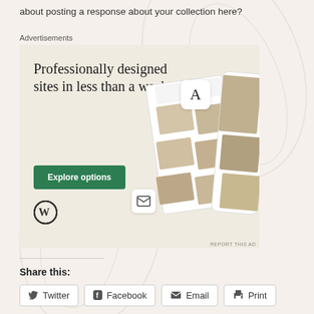about posting a response about your collection here?
Advertisements
[Figure (illustration): WordPress advertisement banner with beige background, text 'Professionally designed sites in less than a week', green 'Explore options' button, WordPress logo, and decorative website screenshot mockups on the right side.]
Share this:
Twitter
Facebook
Email
Print
Loading...